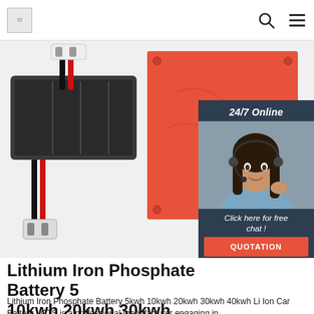[logo] [search icon] [menu icon]
[Figure (photo): Product image area showing a lithium battery pack with wire connector on the left and an orange silicone heating pad in the center, with a 24/7 online chat widget overlay on the right featuring a customer service agent and a QUOTATION button]
Lithium Iron Phosphate Battery 5k 10kwh 20kwh 30kwh ...
Lithium Iron Phosphate Battery 5kwh 10kwh 20kwh 30kwh 40kwh Li Ion Car Battery . CTS is a professional manufacturer engaging in research,development,production,marketing and service of lithium ion pouch battery cell, battery pack and battery management system. LiFePo4 and NMC(Li(NiCoMn)O2) are the major material.